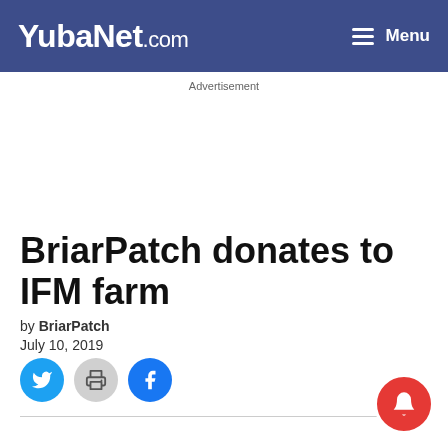YubaNet.com | Menu
Advertisement
BriarPatch donates to IFM farm
by BriarPatch
July 10, 2019
[Figure (other): Social sharing buttons: Twitter (blue circle), Print (grey circle), Facebook (blue circle), and a notification bell icon (red circle) bottom right]